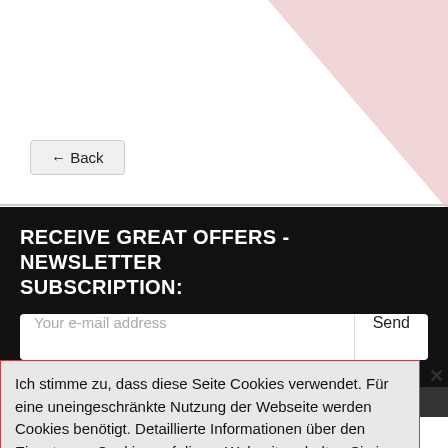[Figure (screenshot): Back button with left arrow on white background with pink decorative triangle in top-right corner]
RECEIVE GREAT OFFERS - NEWSLETTER SUBSCRIPTION:
Your e-mail address
Send
FOLLOW US:
Ich stimme zu, dass diese Seite Cookies verwendet. Für eine uneingeschränkte Nutzung der Webseite werden Cookies benötigt. Detaillierte Informationen über den Einsatz von Cookies auf dieser Webseite erhalten Sie in unserer Datenschutzerklärung.